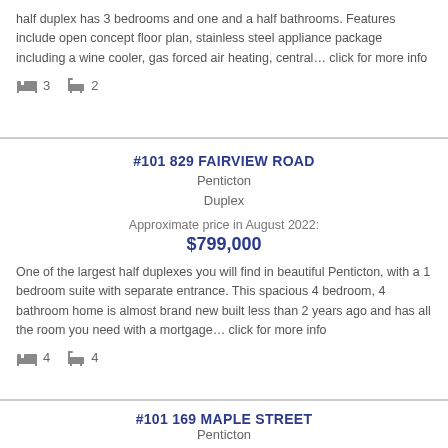half duplex has 3 bedrooms and one and a half bathrooms. Features include open concept floor plan, stainless steel appliance package including a wine cooler, gas forced air heating, central… click for more info
3 bedrooms, 2 bathrooms (icons)
#101 829 FAIRVIEW ROAD
Penticton
Duplex
Approximate price in August 2022:
$799,000
One of the largest half duplexes you will find in beautiful Penticton, with a 1 bedroom suite with separate entrance. This spacious 4 bedroom, 4 bathroom home is almost brand new built less than 2 years ago and has all the room you need with a mortgage… click for more info
4 bedrooms, 4 bathrooms (icons)
#101 169 MAPLE STREET
Penticton
Duplex
Approximate price in August 2022:
$650,000